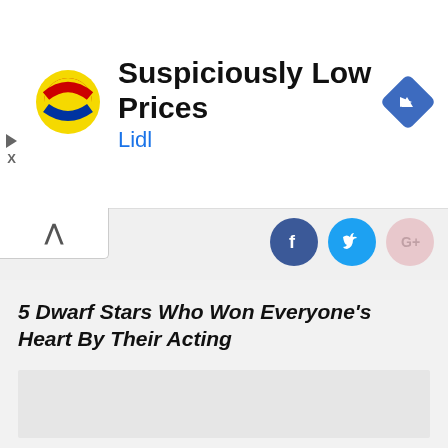[Figure (advertisement): Lidl advertisement banner with Lidl logo, text 'Suspiciously Low Prices' and 'Lidl', and a blue navigation arrow diamond icon on the right]
5 Dwarf Stars Who Won Everyone's Heart By Their Acting